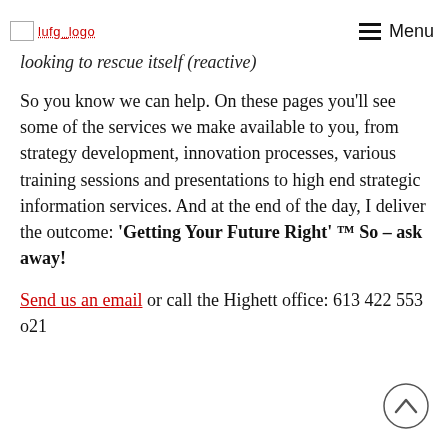lufg_logo | Menu
looking to rescue itself (reactive)
So you know we can help. On these pages you'll see some of the services we make available to you, from strategy development, innovation processes, various training sessions and presentations to high end strategic information services. And at the end of the day, I deliver the outcome: 'Getting Your Future Right' ™ So – ask away!
Send us an email or call the Highett office: 613 422 553 o21